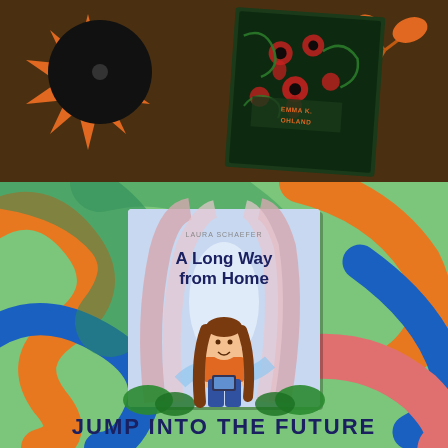[Figure (illustration): Top dark brown panel with decorative orange sun with spiky rays on the left, a vinyl record overlapping it, an orange autumn leaf/branch on the right, and a dark green book cover with red and pink decorative skulls/pears pattern in the center-right area with text 'EMMA K. OHLAND' on the cover.]
[Figure (illustration): Bottom green panel with colorful wavy swirl decorations in orange, blue, and pink. In the center is a book cover for 'A Long Way from Home' by Laura Schaefer, showing a girl with long brown hair holding a device, standing in a futuristic greenhouse/atrium setting with tall curved structures.]
JUMP INTO THE FUTURE